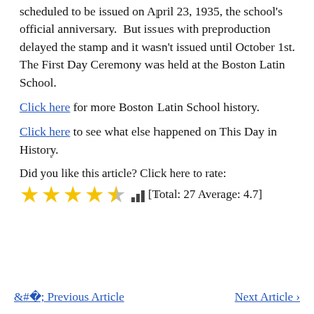scheduled to be issued on April 23, 1935, the school's official anniversary.  But issues with preproduction delayed the stamp and it wasn't issued until October 1st.  The First Day Ceremony was held at the Boston Latin School.
Click here for more Boston Latin School history.
Click here to see what else happened on This Day in History.
Did you like this article? Click here to rate:
[Figure (other): Five star rating display showing 4.5 gold stars, a bar chart icon, and text '[Total: 27 Average: 4.7]']
< Previous Article   Next Article >